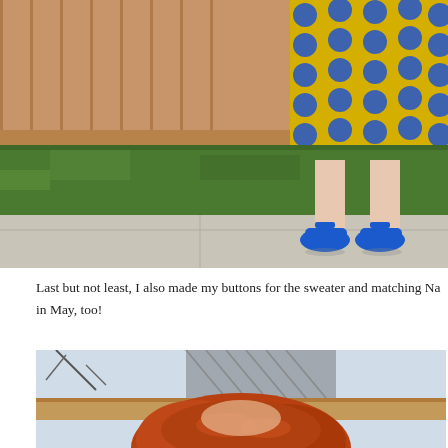[Figure (photo): Photo showing the lower half of a person wearing a yellow and blue polka-dot dress and cobalt blue T-strap heels, standing on a sidewalk in front of a wooden fence with a grass lawn behind.]
Last but not least, I also made my buttons for the sweater and matching Na in May, too!
[Figure (photo): Photo showing a close-up of a person with red/auburn hair, outdoors near a wooden fence and lattice structure.]